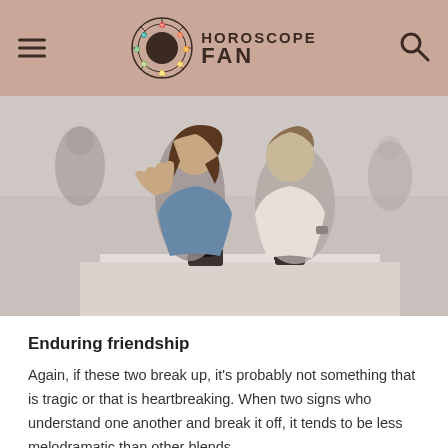HOROSCOPE FAN
[Figure (photo): A young couple sitting at a cafe table in conversation, the woman gesturing with her hand open, both appearing to be in a serious discussion. Background shows a busy cafe setting with other patrons.]
Enduring friendship
Again, if these two break up, it's probably not something that is tragic or that is heartbreaking. When two signs who understand one another and break it off, it tends to be less melodramatic than other blends.